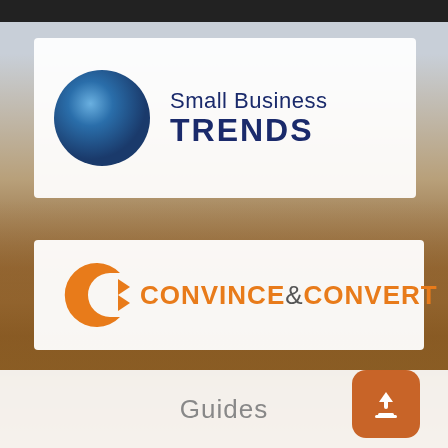[Figure (logo): Small Business Trends logo: blue gradient circle on left, text 'Small Business TRENDS' in navy blue on right, on white background banner]
[Figure (logo): Convince & Convert logo: orange letter C icon on left, orange bold text 'CONVINCE&CONVERT' on right, on white background banner]
[Figure (photo): Background photo of a wooden desk with glasses and tablet/laptop, light blue and warm wood tones]
Guides